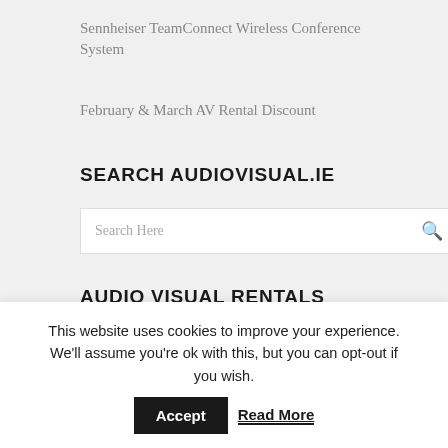Sennheiser TeamConnect Wireless Conference System
February & March AV Rental Discount
SEARCH AUDIOVISUAL.IE
[Figure (screenshot): Search box with placeholder text 'Search Here' and a search icon on the right]
AUDIO VISUAL RENTALS
Flat Screens
This website uses cookies to improve your experience. We'll assume you're ok with this, but you can opt-out if you wish. Accept  Read More